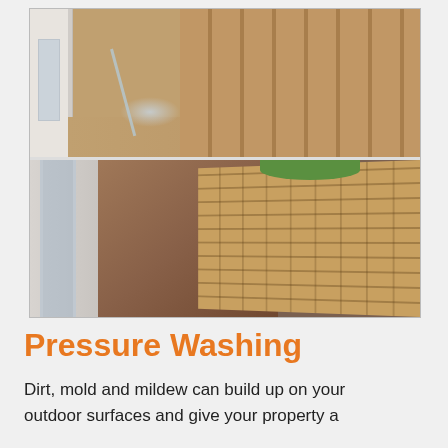[Figure (photo): Two stacked before/after photos showing a narrow outdoor passage between a white-framed window/door and a tan brick wall. Top photo shows pressure washing in progress with water visible on the concrete floor. Bottom photo shows the same area from a slightly different angle, both images display brick walls and a concrete/aggregate walkway surface.]
Pressure Washing
Dirt, mold and mildew can build up on your outdoor surfaces and give your property a